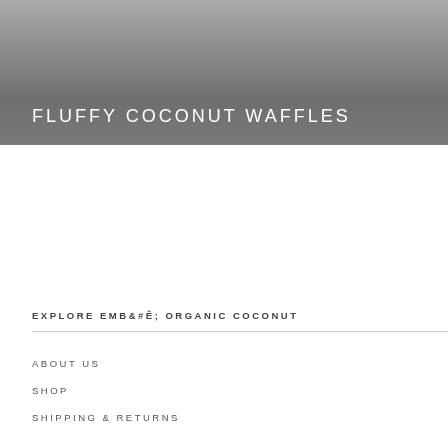[Figure (photo): Hero banner image with gradient gray background and white text title 'FLUFFY COCONUT WAFFLES']
FLUFFY COCONUT WAFFLES
EXPLORE EMBÊ ORGANIC COCONUT
ABOUT US
SHOP
SHIPPING & RETURNS